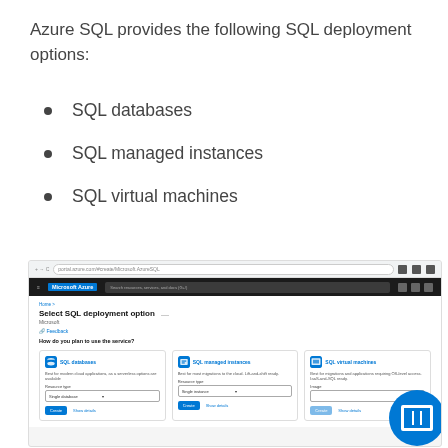Azure SQL provides the following SQL deployment options:
SQL databases
SQL managed instances
SQL virtual machines
[Figure (screenshot): Screenshot of Microsoft Azure portal showing the 'Select SQL deployment option' page with three cards: SQL databases, SQL managed instances, and SQL virtual machines, each with Resource type dropdowns and Create/Show details buttons.]